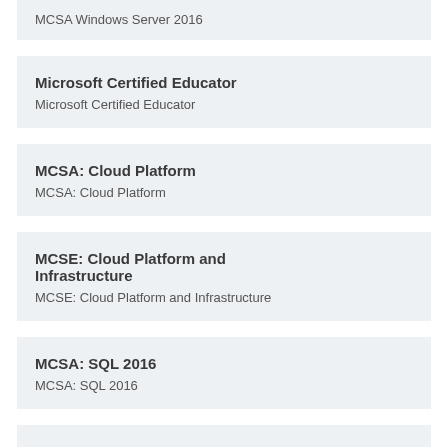MCSA Windows Server 2016
Microsoft Certified Educator
Microsoft Certified Educator
MCSA: Cloud Platform
MCSA: Cloud Platform
MCSE: Cloud Platform and Infrastructure
MCSE: Cloud Platform and Infrastructure
MCSA: SQL 2016
MCSA: SQL 2016